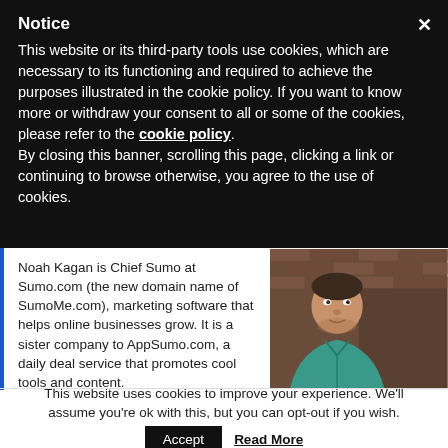Notice
This website or its third-party tools use cookies, which are necessary to its functioning and required to achieve the purposes illustrated in the cookie policy. If you want to know more or withdraw your consent to all or some of the cookies, please refer to the cookie policy. By closing this banner, scrolling this page, clicking a link or continuing to browse otherwise, you agree to the use of cookies.
Noah Kagan is Chief Sumo at Sumo.com (the new domain name of SumoMe.com), marketing software that helps online businesses grow. It is a sister company to AppSumo.com, a daily deal service that promotes cool tools and content.
[Figure (photo): Headshot of Noah Kagan, a man in a teal/green shirt against a brick wall background]
This website uses cookies to improve your experience. We'll assume you're ok with this, but you can opt-out if you wish.
Accept   Read More